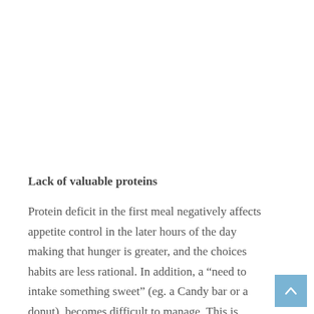Lack of valuable proteins
Protein deficit in the first meal negatively affects appetite control in the later hours of the day making that hunger is greater, and the choices habits are less rational. In addition, a “need to intake something sweet” (eg. a Candy bar or a donut), becomes difficult to manage. This is related to the effects of protein postprandial